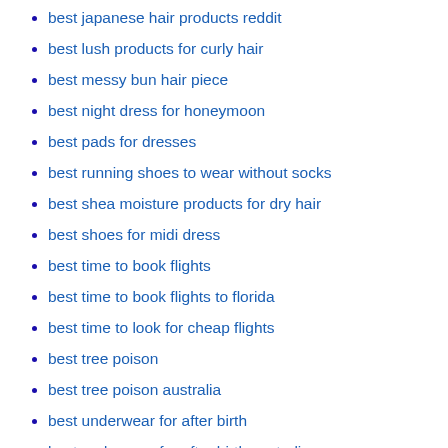best japanese hair products reddit
best lush products for curly hair
best messy bun hair piece
best night dress for honeymoon
best pads for dresses
best running shoes to wear without socks
best shea moisture products for dry hair
best shoes for midi dress
best time to book flights
best time to book flights to florida
best time to look for cheap flights
best tree poison
best tree poison australia
best underwear for after birth
best underwear for after birth australia